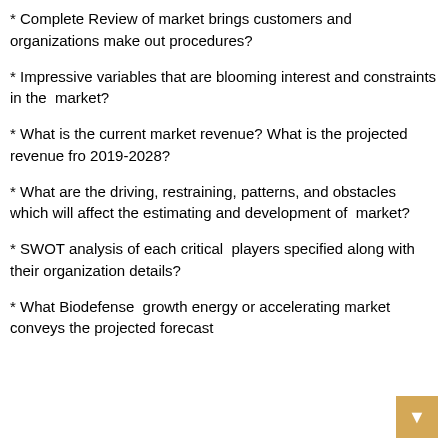* Complete Review of market brings customers and organizations make out procedures?
* Impressive variables that are blooming interest and constraints in the  market?
* What is the current market revenue? What is the projected revenue fro 2019-2028?
* What are the driving, restraining, patterns, and obstacles which will affect the estimating and development of  market?
* SWOT analysis of each critical  players specified along with their organization details?
* What Biodefense  growth energy or accelerating market conveys the projected forecast